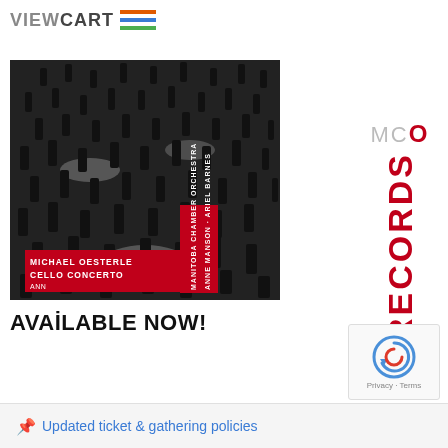VIEWCART
[Figure (photo): Album cover for Michael Oesterle Cello Concerto featuring Anne Manson, Ariel Barnes, Manitoba Chamber Orchestra. Black and white photo of many silhouetted figures, with red text overlay on the cover.]
[Figure (logo): MCO Records logo in red and grey text]
AVAILABLE NOW!
[Figure (other): reCAPTCHA widget showing circular arrow icon with Privacy - Terms text]
Updated ticket & gathering policies